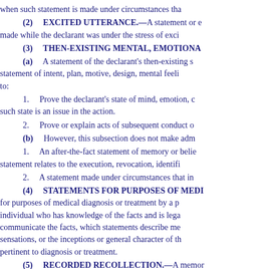when such statement is made under circumstances tha
(2)    EXCITED UTTERANCE.—A statement or e made while the declarant was under the stress of exci
(3)    THEN-EXISTING MENTAL, EMOTIONA
(a)    A statement of the declarant's then-existing s statement of intent, plan, motive, design, mental feeli to:
1.    Prove the declarant's state of mind, emotion, c such state is an issue in the action.
2.    Prove or explain acts of subsequent conduct o
(b)    However, this subsection does not make adm
1.    An after-the-fact statement of memory or belie statement relates to the execution, revocation, identifi
2.    A statement made under circumstances that in
(4)    STATEMENTS FOR PURPOSES OF MEDI for purposes of medical diagnosis or treatment by a p individual who has knowledge of the facts and is lega communicate the facts, which statements describe me sensations, or the inceptions or general character of th pertinent to diagnosis or treatment.
(5)    RECORDED RECOLLECTION.—A memor witness once had knowledge, but now has insufficien